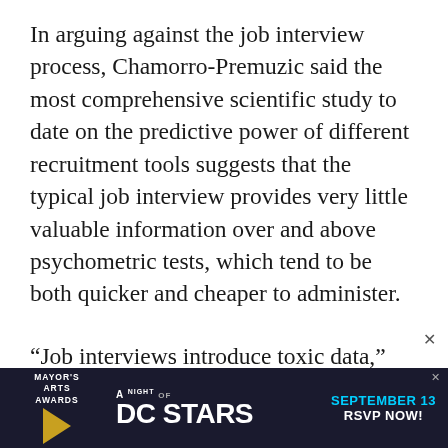In arguing against the job interview process, Chamorro-Premuzic said the most comprehensive scientific study to date on the predictive power of different recruitment tools suggests that the typical job interview provides very little valuable information over and above psychometric tests, which tend to be both quicker and cheaper to administer.
“Job interviews introduce toxic data,” Chamorro-Premuzic said. “In addition to the information interviews should provide but [don’t, they also generate a lot of information…]
[Figure (infographic): Advertisement banner for Mayor's Arts Awards: A Night of DC Stars, September 13, RSVP Now! Dark navy background with gold arrow/chevron graphic, cyan and white text.]